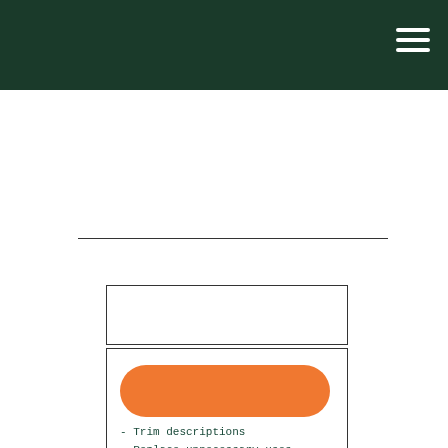[Figure (other): Dark green header bar with hamburger menu icon in top right corner]
[Figure (other): Horizontal rule divider line]
[Figure (other): Upper empty bordered rectangle box]
[Figure (other): Lower bordered rectangle box containing an orange pill/button shape and list items]
- Trim descriptions
- Replace unnecessary uses